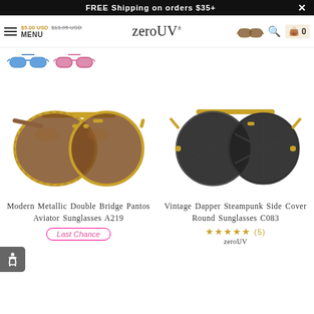FREE Shipping on orders $35+
$5.00 USD $13.95 USD
MENU
[Figure (logo): zeroUV logo text in serif font]
[Figure (photo): Thumbnail of tortoise shell double bridge aviator sunglasses]
[Figure (photo): Thumbnail of blue mirrored double bridge sunglasses]
[Figure (photo): Thumbnail of pink/rose mirrored double bridge sunglasses]
[Figure (photo): Product photo: Modern Metallic Double Bridge Pantos Aviator Sunglasses A219 - gold frame with brown lenses]
Modern Metallic Double Bridge Pantos Aviator Sunglasses A219
Last Chance
[Figure (photo): Product photo: Vintage Dapper Steampunk Side Cover Round Sunglasses C083 - black and gold frame with dark lenses]
Vintage Dapper Steampunk Side Cover Round Sunglasses C083
★★★★★ (5)
zeroUV